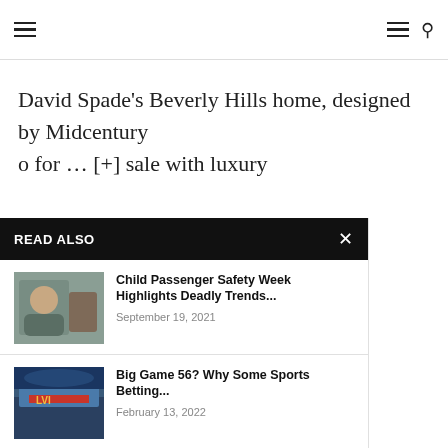Navigation bar with hamburger menus and search icon
David Spade's Beverly Hills home, designed by Midcentury … [+] sale with luxury
…aychecks and varying work … to move from one lavish … of time.
…ade, his recently listed … for two decades was just
…is longtime home in Beverly
READ ALSO
[Figure (photo): Baby in car seat]
Child Passenger Safety Week Highlights Deadly Trends...
September 19, 2021
[Figure (photo): Stadium with LVI Super Bowl signage]
Big Game 56? Why Some Sports Betting...
February 13, 2022
[Figure (photo): City skyline at night]
Book An Incredible Stay At One Of...
April 18, 2022